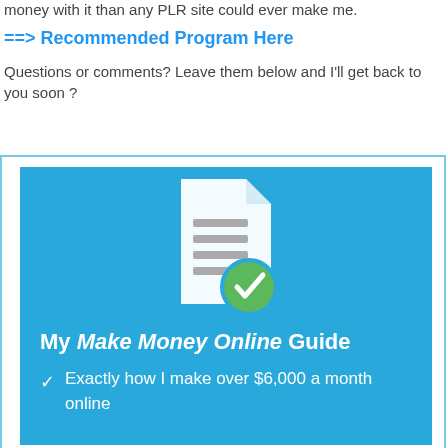money with it than any PLR site could ever make me.
==> Recommended Program Here
Questions or comments? Leave them below and I'll get back to you soon ?
[Figure (infographic): Blue promotional box with a document/checklist icon with a green checkmark circle, title 'My Make Money Online Guide', and a bullet point: 'Exactly how I make over $6,000 a month online']